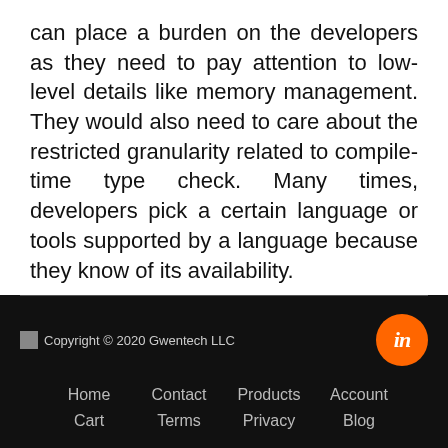can place a burden on the developers as they need to pay attention to low-level details like memory management. They would also need to care about the restricted granularity related to compile-time type check. Many times, developers pick a certain language or tools supported by a language because they know of its availability.
Copyright © 2020 Gwentech LLC | Home | Contact | Products | Account | Cart | Terms | Privacy | Blog